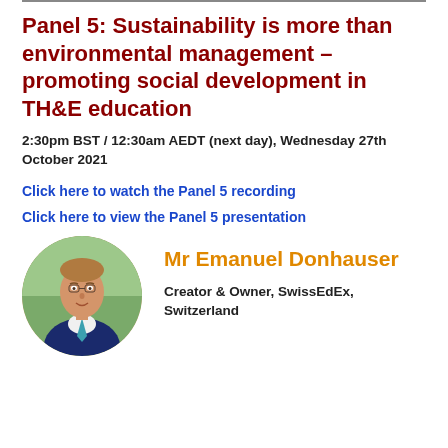Panel 5: Sustainability is more than environmental management – promoting social development in TH&E education
2:30pm BST / 12:30am AEDT (next day), Wednesday 27th October 2021
Click here to watch the Panel 5 recording
Click here to view the Panel 5 presentation
[Figure (photo): Headshot photo of Mr Emanuel Donhauser, a man in a suit with a blue tie, circular crop]
Mr Emanuel Donhauser
Creator & Owner, SwissEdEx, Switzerland